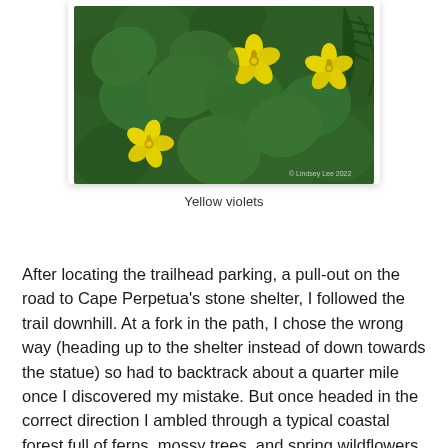[Figure (photo): Close-up photograph of yellow violets with heart-shaped dark green leaves. Three small yellow flowers with dark markings are visible among dense green foliage. A photographer watermark reads '© Lindsey Lee 2022' in the lower right corner.]
Yellow violets
After locating the trailhead parking, a pull-out on the road to Cape Perpetua's stone shelter, I followed the trail downhill.  At a fork in the path, I chose the wrong way (heading up to the shelter instead of down towards the statue) so had to backtrack about a quarter mile once I discovered my mistake.  But once headed in the correct direction I ambled through a typical coastal forest full of ferns, mossy trees, and spring wildflowers.  As all coastal forests are, this one was quite lovely.